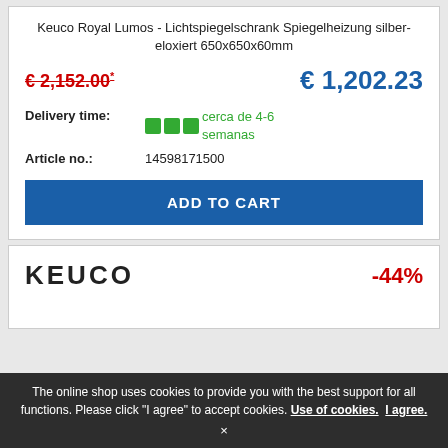Keuco Royal Lumos - Lichtspiegelschrank Spiegelheizung silber-eloxiert 650x650x60mm
€ 2,152.00* € 1,202.23
Delivery time: cerca de 4-6 semanas
Article no.: 14598171500
ADD TO CART
[Figure (logo): KEUCO brand logo in bold uppercase letters]
-44%
The online shop uses cookies to provide you with the best support for all functions. Please click "I agree" to accept cookies. Use of cookies. I agree. ×